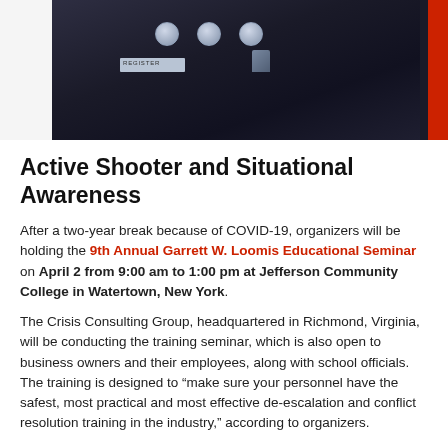[Figure (photo): Photo of a person in a dark uniform with silver buttons/badges and a red accent bar on the right edge. The image is cropped showing the torso/chest area of the uniform.]
Active Shooter and Situational Awareness
After a two-year break because of COVID-19, organizers will be holding the 9th Annual Garrett W. Loomis Educational Seminar on April 2 from 9:00 am to 1:00 pm at Jefferson Community College in Watertown, New York.
The Crisis Consulting Group, headquartered in Richmond, Virginia, will be conducting the training seminar, which is also open to business owners and their employees, along with school officials. The training is designed to “make sure your personnel have the safest, most practical and most effective de-escalation and conflict resolution training in the industry,” according to organizers.
The event is being offered free of charge to anyone